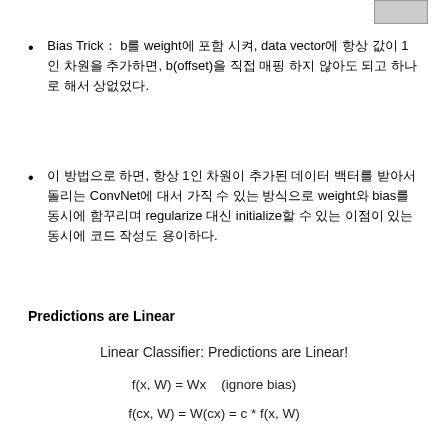[Figure (other): Small gray rectangle/image in top right corner]
Bias Trick： b를 weight에 포함 시켜, data vector에 항상 값이 1인 차원을 추가하면, b(offset)을 직접 매핑 하지 않아도 되고 하나로 해서 상없었다.
이 방법으로 하면, 항상 1인 차원이 추가된 데이터 벡터를 받아서 돌림 ConvNet에 대서 가을 수 있는 방식으로 weight와 bias를 동시에 함꾸마로 regularize 대신 initialize할 수 있는 이점이 있는 동시에 코드 작성도 용이하다.
Predictions are Linear